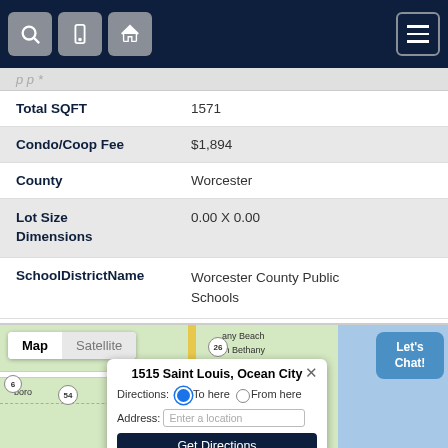[Figure (screenshot): Navigation bar with search, mobile, home icons on left and menu icon on right, dark navy background]
| Field | Value |
| --- | --- |
| Total SQFT | 1571 |
| Condo/Coop Fee | $1,894 |
| County | Worcester |
| Lot Size Dimensions | 0.00 X 0.00 |
| SchoolDistrictName | Worcester County Public Schools |
[Figure (map): Google map showing 1515 Saint Louis, Ocean City with a popup dialog for directions including 'To here' / 'From here' radio buttons, an address input field, and a Get Directions button. Map/Satellite toggle and Let's Chat button visible.]